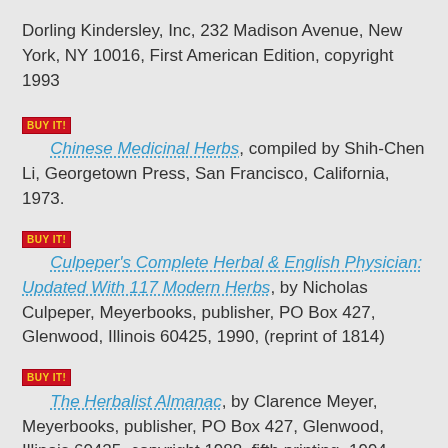Dorling Kindersley, Inc, 232 Madison Avenue, New York, NY 10016, First American Edition, copyright 1993
BUY IT! Chinese Medicinal Herbs, compiled by Shih-Chen Li, Georgetown Press, San Francisco, California, 1973.
BUY IT! Culpeper's Complete Herbal & English Physician: Updated With 117 Modern Herbs, by Nicholas Culpeper, Meyerbooks, publisher, PO Box 427, Glenwood, Illinois 60425, 1990, (reprint of 1814)
BUY IT! The Herbalist Almanac, by Clarence Meyer, Meyerbooks, publisher, PO Box 427, Glenwood, Illinois 60425, copyright 1988, fifth printing, 1994